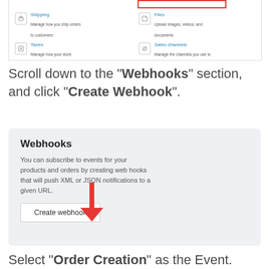[Figure (screenshot): Screenshot of a settings panel showing Shipping, Files, Taxes, and Sales channels options with icons. A red border highlights text at the top right.]
Scroll down to the “Webhooks” section, and click “Create Webhook”.
[Figure (screenshot): Screenshot of the Webhooks settings card showing the heading 'Webhooks', descriptive text about subscribing to events, a 'Create webhook' button, and a red arrow pointing to the button.]
Select “Order Creation” as the Event.